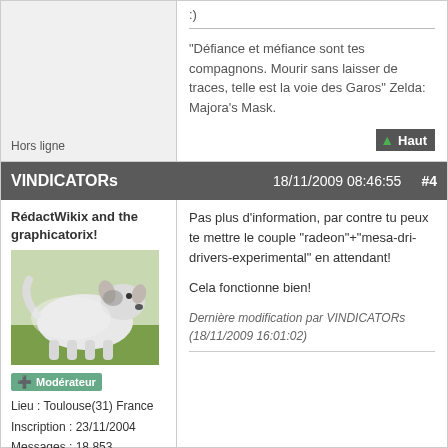:)
"Défiance et méfiance sont tes compagnons. Mourir sans laisser de traces, telle est la voie des Garos" Zelda: Majora's Mask.
Hors ligne
Haut
VINDICATORs   18/11/2009 08:46:55   #4
RédactWikix and the graphicatorix!
[Figure (photo): A large white fluffy dog standing on grass]
Modérateur
Lieu : Toulouse(31) France
Inscription : 23/11/2004
Messages : 18 853
Pas plus d'information, par contre tu peux te mettre le couple "radeon"+"mesa-dri-drivers-experimental" en attendant!

Cela fonctionne bien!
Dernière modification par VINDICATORs (18/11/2009 16:01:02)